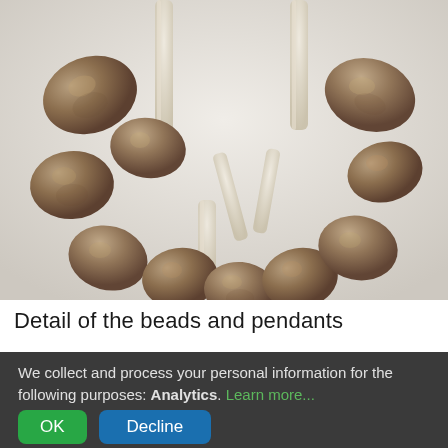[Figure (photo): Close-up photograph of archaeological beads and pendants — teardrop-shaped brown stone beads threaded on pale bone or ivory rods, arranged in a curved necklace formation against a light grey-white background.]
Detail of the beads and pendants
[Figure (photo): Partial view of a second photograph of beads/artifacts, cropped at bottom of page.]
We collect and process your personal information for the following purposes: Analytics. Learn more...
OK
Decline